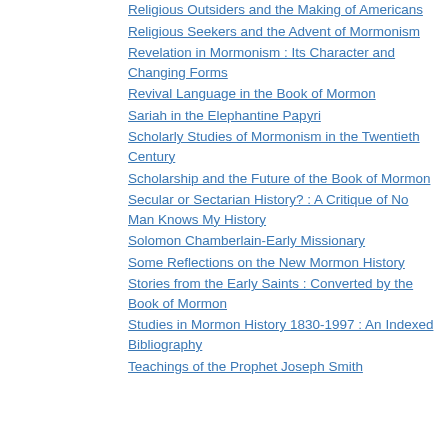Religious Outsiders and the Making of Americans
Religious Seekers and the Advent of Mormonism
Revelation in Mormonism : Its Character and Changing Forms
Revival Language in the Book of Mormon
Sariah in the Elephantine Papyri
Scholarly Studies of Mormonism in the Twentieth Century
Scholarship and the Future of the Book of Mormon
Secular or Sectarian History? : A Critique of No Man Knows My History
Solomon Chamberlain-Early Missionary
Some Reflections on the New Mormon History
Stories from the Early Saints : Converted by the Book of Mormon
Studies in Mormon History 1830-1997 : An Indexed Bibliography
Teachings of the Prophet Joseph Smith